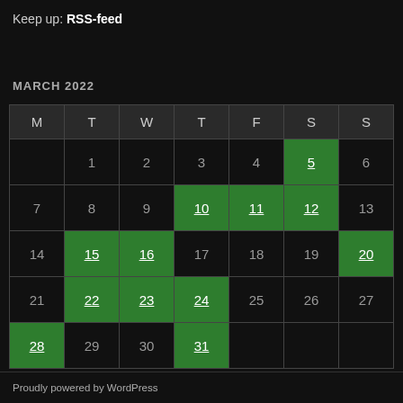Keep up: RSS-feed
MARCH 2022
| M | T | W | T | F | S | S |
| --- | --- | --- | --- | --- | --- | --- |
|  | 1 | 2 | 3 | 4 | 5 | 6 |
| 7 | 8 | 9 | 10 | 11 | 12 | 13 |
| 14 | 15 | 16 | 17 | 18 | 19 | 20 |
| 21 | 22 | 23 | 24 | 25 | 26 | 27 |
| 28 | 29 | 30 | 31 |  |  |  |
« Feb   Apr »
Proudly powered by WordPress